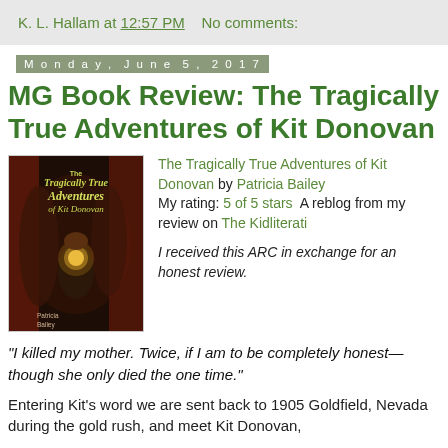K. L. Hallam at 12:57 PM   No comments:
Monday, June 5, 2017
MG Book Review: The Tragically True Adventures of Kit Donovan
[Figure (illustration): Book cover of The Tragically True Adventures of Kit Donovan by Patricia Bailey, showing a figure holding a glowing light in a dark cave setting with dramatic red and dark tones]
The Tragically True Adventures of Kit Donovan by Patricia Bailey
My rating: 5 of 5 stars  A reblog from my review on The Kidliterati

 I received this ARC in exchange for an honest review.
“I killed my mother. Twice, if I am to be completely honest—though she only died the one time.”
Entering Kit’s word we are sent back to 1905 Goldfield, Nevada during the gold rush, and meet Kit Donovan,